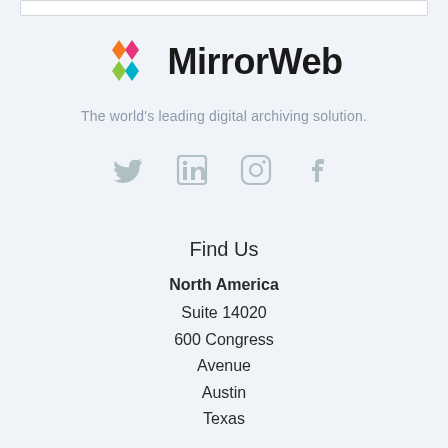[Figure (logo): MirrorWeb logo: colorful diamond/chevron shape in orange, pink, green, and teal, followed by the text 'MirrorWeb' in bold black sans-serif]
The world's leading digital archiving solution.
[Figure (infographic): Social media icons: Twitter bird, LinkedIn square, Instagram camera, Facebook f — all in gray]
Find Us
North America
Suite 14020
600 Congress
Avenue
Austin
Texas